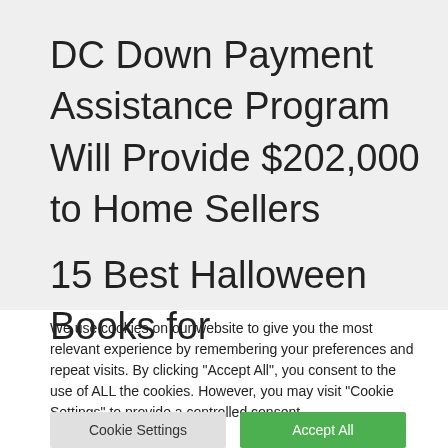DC Down Payment Assistance Program Will Provide $202,000 to Home Sellers
15 Best Halloween Books for
We use cookies on our website to give you the most relevant experience by remembering your preferences and repeat visits. By clicking “Accept All”, you consent to the use of ALL the cookies. However, you may visit "Cookie Settings" to provide a controlled consent.